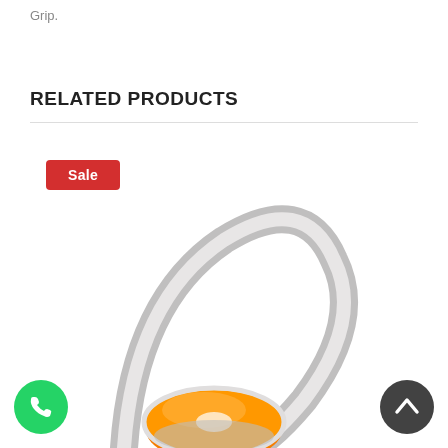Grip.
RELATED PRODUCTS
Sale
[Figure (photo): Orange and grey canister vacuum cleaner with curved hose, partially visible from above]
[Figure (logo): WhatsApp green phone icon button in bottom left corner]
[Figure (other): Dark grey circular scroll-to-top arrow button in bottom right corner]